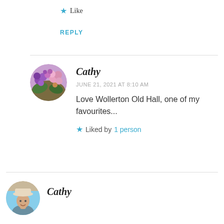★ Like
REPLY
[Figure (photo): Circular avatar photo of purple and pink flowers]
Cathy
JUNE 21, 2021 AT 8:10 AM
Love Wollerton Old Hall, one of my favourites...
★ Liked by 1 person
[Figure (photo): Circular avatar photo of a person wearing a hat, smiling]
Cathy